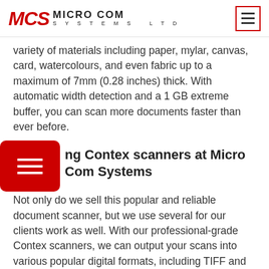MCS MICRO COM SYSTEMS LTD
variety of materials including paper, mylar, canvas, card, watercolours, and even fabric up to a maximum of 7mm (0.28 inches) thick. With automatic width detection and a 1 GB extreme buffer, you can scan more documents faster than ever before.
ng Contex scanners at Micro Com Systems
Not only do we sell this popular and reliable document scanner, but we use several for our clients work as well. With our professional-grade Contex scanners, we can output your scans into various popular digital formats, including TIFF and single or multi-page PDF